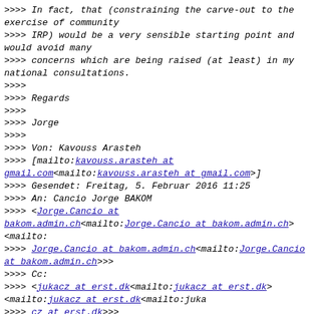>>>> In fact, that (constraining the carve-out to the exercise of community
>>>> IRP) would be a very sensible starting point and would avoid many
>>>> concerns which are being raised (at least) in my national consultations.
>>>>
>>>> Regards
>>>>
>>>> Jorge
>>>>
>>>> Von: Kavouss Arasteh
>>>> [mailto:kavouss.arasteh at gmail.com<mailto:kavouss.arasteh at gmail.com>]
>>>> Gesendet: Freitag, 5. Februar 2016 11:25
>>>> An: Cancio Jorge BAKOM
>>>> <Jorge.Cancio at bakom.admin.ch<mailto:Jorge.Cancio at bakom.admin.ch>
<mailto:
>>>> Jorge.Cancio at bakom.admin.ch<mailto:Jorge.Cancio at bakom.admin.ch>>>
>>>> Cc:
>>>> <jukacz at erst.dk<mailto:jukacz at erst.dk>
<mailto:jukacz at erst.dk<mailto:juka
>>>> cz at erst.dk>>>
>>>> <jukacz at erst.dk<mailto:jukacz at erst.dk>
<mailto:jukacz at erst.dk<mailto:juka
>>>> cz at erst.dk>>>;
>>>> <accountability-cross-community at icann.org<mailto:accountability-cross-co